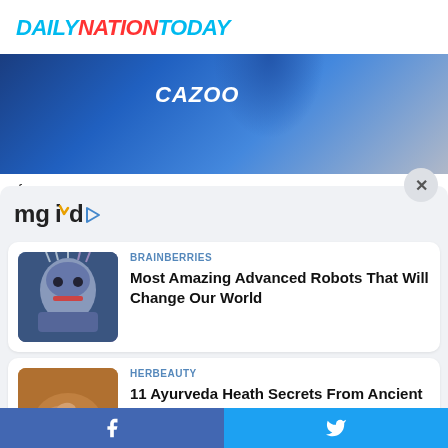DAILYNATIONTODAY
[Figure (photo): Soccer player wearing blue Cazoo jersey]
[Figure (screenshot): MGID content recommendation widget showing two article cards]
BRAINBERRIES
Most Amazing Advanced Robots That Will Change Our World
HERBEAUTY
11 Ayurveda Heath Secrets From Ancient India
Facebook Twitter social share bar